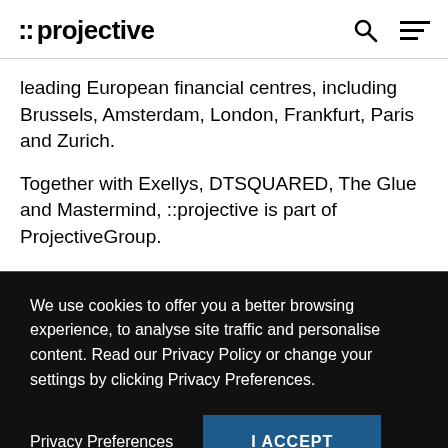::projective
leading European financial centres, including Brussels, Amsterdam, London, Frankfurt, Paris and Zurich.
Together with Exellys, DTSQUARED, The Glue and Mastermind, ::projective is part of ProjectiveGroup.
We use cookies to offer you a better browsing experience, to analyse site traffic and personalise content. Read our Privacy Policy or change your settings by clicking Privacy Preferences.
Privacy Preferences
I ACCEPT